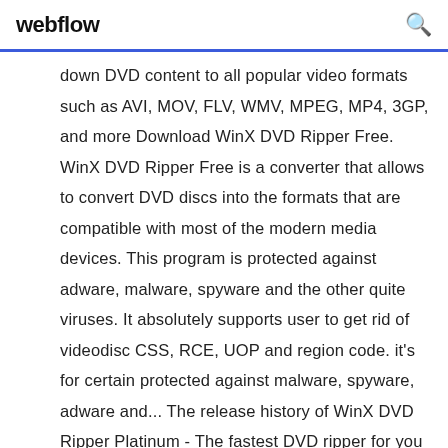webflow
down DVD content to all popular video formats such as AVI, MOV, FLV, WMV, MPEG, MP4, 3GP, and more Download WinX DVD Ripper Free. WinX DVD Ripper Free is a converter that allows to convert DVD discs into the formats that are compatible with most of the modern media devices. This program is protected against adware, malware, spyware and the other quite viruses. It absolutely supports user to get rid of videodisc CSS, RCE, UOP and region code. it's for certain protected against malware, spyware, adware and... The release history of WinX DVD Ripper Platinum - The fastest DVD ripper for you to convert DVDs to AVI, MP4, WMV, MPEG, MOV, iPhone, iPad, POP